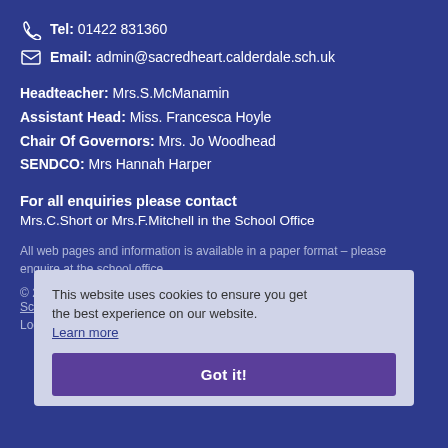Tel: 01422 831360
Email: admin@sacredheart.calderdale.sch.uk
Headteacher: Mrs.S.McManamin
Assistant Head: Miss. Francesca Hoyle
Chair Of Governors: Mrs. Jo Woodhead
SENDCO: Mrs Hannah Harper
For all enquiries please contact
Mrs.C.Short or Mrs.F.Mitchell in the School Office
All web pages and information is available in a paper format – please enquire at the school office.
© 2 Sacred Heart Catholic Voluntary Academy
School Website by Edusite
Log in
This website uses cookies to ensure you get the best experience on our website.
Learn more
Got it!